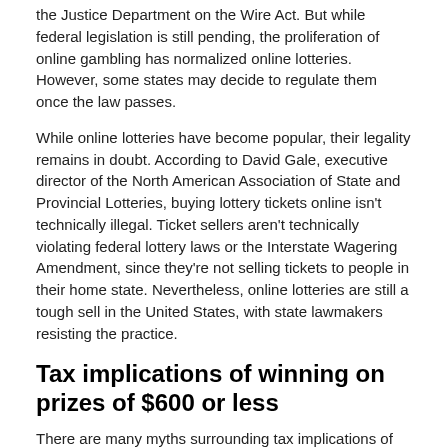the Justice Department on the Wire Act. But while federal legislation is still pending, the proliferation of online gambling has normalized online lotteries. However, some states may decide to regulate them once the law passes.
While online lotteries have become popular, their legality remains in doubt. According to David Gale, executive director of the North American Association of State and Provincial Lotteries, buying lottery tickets online isn't technically illegal. Ticket sellers aren't technically violating federal lottery laws or the Interstate Wagering Amendment, since they're not selling tickets to people in their home state. Nevertheless, online lotteries are still a tough sell in the United States, with state lawmakers resisting the practice.
Tax implications of winning on prizes of $600 or less
There are many myths surrounding tax implications of winning on prize-less lottery drawings, but one of the biggest is the misconception that if you win on a prize worth less than $600, you don't have to pay taxes on it. This myth is based on the fact that you don't get a 1099-MISC form, but that doesn't mean that you won't owe taxes on the value of your prize. No matter the size of the prize, you must report the value of your